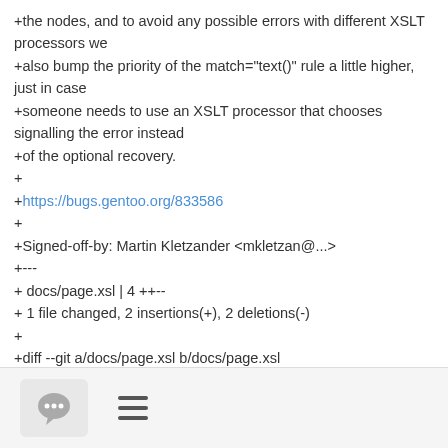+the nodes, and to avoid any possible errors with different XSLT processors we
+also bump the priority of the match="text()" rule a little higher, just in case
+someone needs to use an XSLT processor that chooses signalling the error instead
+of the optional recovery.
+
+https://bugs.gentoo.org/833586
+
+Signed-off-by: Martin Kletzander <mkletzan@...>
+---
+ docs/page.xsl | 4 ++--
+ 1 file changed, 2 insertions(+), 2 deletions(-)
+
+diff --git a/docs/page.xsl b/docs/page.xsl
+index fd67918d3b..72a6fa0842 100644
+--- a/docs/page.xsl
+++++ b/docs/page.xsl
[Figure (other): Footer bar with a chat bubble icon button and a hamburger menu icon]